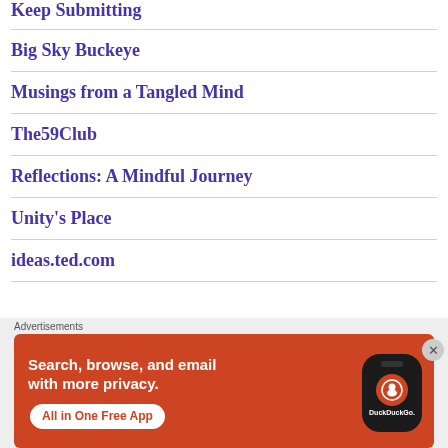Keep Submitting
Big Sky Buckeye
Musings from a Tangled Mind
The59Club
Reflections: A Mindful Journey
Unity's Place
ideas.ted.com
[Figure (screenshot): DuckDuckGo advertisement banner: 'Search, browse, and email with more privacy. All in One Free App' with DuckDuckGo logo on a phone graphic on orange/red background.]